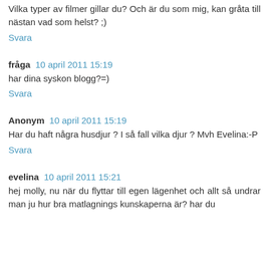Vilka typer av filmer gillar du? Och är du som mig, kan gråta till nästan vad som helst? ;)
Svara
fråga 10 april 2011 15:19
har dina syskon blogg?=)
Svara
Anonym 10 april 2011 15:19
Har du haft några husdjur ? I så fall vilka djur ? Mvh Evelina:-P
Svara
evelina 10 april 2011 15:21
hej molly, nu när du flyttar till egen lägenhet och allt så undrar man ju hur bra matlagnings kunskaperna är? har du